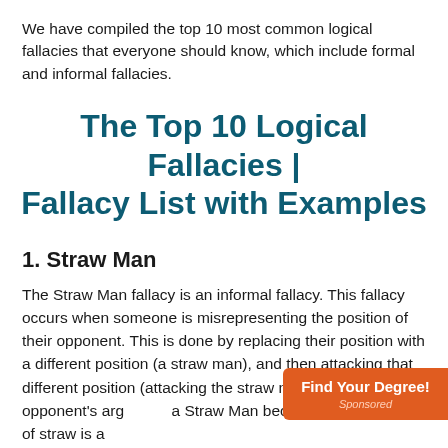We have compiled the top 10 most common logical fallacies that everyone should know, which include formal and informal fallacies.
The Top 10 Logical Fallacies | Fallacy List with Examples
1. Straw Man
The Straw Man fallacy is an informal fallacy. This fallacy occurs when someone is misrepresenting the position of their opponent. This is done by replacing their position with a different position (a straw man), and then attacking that different position (attacking the straw man). Changing the opponent's arg[ument is called] a Straw Man because a man made of straw is a